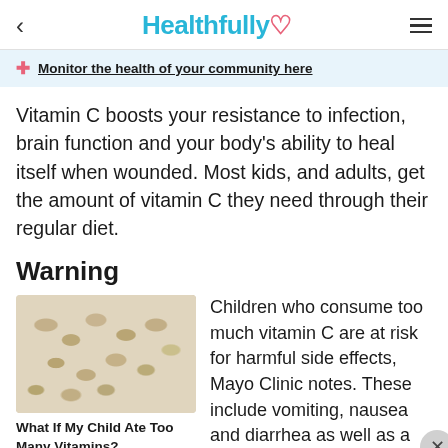Healthfully
Monitor the health of your community here
Vitamin C boosts your resistance to infection, brain function and your body's ability to heal itself when wounded. Most kids, and adults, get the amount of vitamin C they need through their regular diet.
Warning
[Figure (photo): Pile of chewable vitamin C tablets/gummies on a light background]
What If My Child Ate Too Many Vitamins?
Children who consume too much vitamin C are at risk for harmful side effects, Mayo Clinic notes. These include vomiting, nausea and diarrhea as well as a